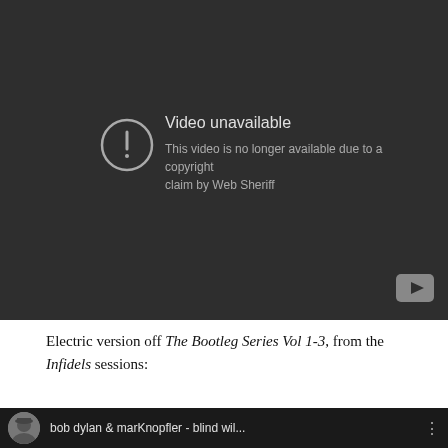[Figure (screenshot): YouTube video unavailable screen with dark background. Shows a circle with exclamation mark icon, text 'Video unavailable' in white, and subtext 'This video is no longer available due to a copyright claim by Web Sheriff'. YouTube logo in bottom right corner.]
Electric version off The Bootleg Series Vol 1-3, from the Infidels sessions:
[Figure (screenshot): Partial YouTube video thumbnail showing a profile photo (person with hat) and text 'bob dylan & marKnopfler - blind wil...' with a menu icon on the right.]